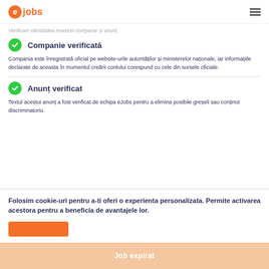eJobs
Verificam identitatea noastrei companie și anunț.
Companie verificată
Compania este înregistrată oficial pe website-urile autorităților și ministerelor naționale, iar informațiile declarate de aceasta în momentul creării contului corespund cu cele din sursele oficiale.
Anunț verificat
Textul acestui anunț a fost verificat de echipa eJobs pentru a elimina posibile greșeli sau conținut discriminatoriu.
Folosim cookie-uri pentru a-ti oferi o experienta personalizata. Permite activarea acestora pentru a beneficia de avantajele lor.
Job expirat